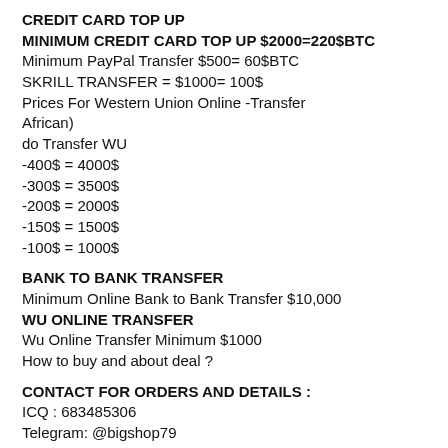CREDIT CARD TOP UP
MINIMUM CREDIT CARD TOP UP $2000=220$BTC
Minimum PayPal Transfer $500= 60$BTC
SKRILL TRANSFER = $1000= 100$
Prices For Western Union Online -Transfer African)
do Transfer WU
-400$ = 4000$
-300$ = 3500$
-200$ = 2000$
-150$ = 1500$
-100$ = 1000$
BANK TO BANK TRANSFER
Minimum Online Bank to Bank Transfer $10,000
WU ONLINE TRANSFER
Wu Online Transfer Minimum $1000
How to buy and about deal ?
CONTACT FOR ORDERS AND DETAILS :
ICQ : 683485306
Telegram: @bigshop79
Whatapp : : +84932475671
101 dumps pin amex cc atm skimmer bank account login best dumps